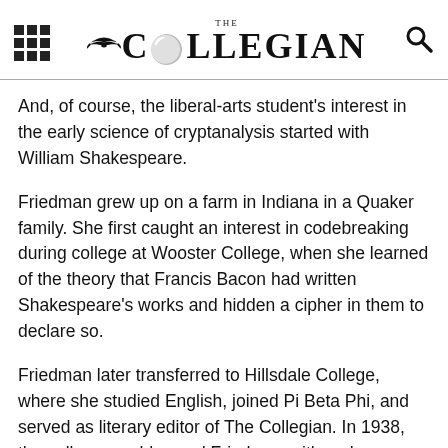THE COLLEGIAN
And, of course, the liberal-arts student's interest in the early science of cryptanalysis started with William Shakespeare.
Friedman grew up on a farm in Indiana in a Quaker family. She first caught an interest in codebreaking during college at Wooster College, when she learned of the theory that Francis Bacon had written Shakespeare's works and hidden a cipher in them to declare so.
Friedman later transferred to Hillsdale College, where she studied English, joined Pi Beta Phi, and served as literary editor of The Collegian. In 1938, the college would award Friedman with an honorary doctor of law degree for her work in the Treasury Department.
After college, she worked as a librarian in Chicago, Illinois, because it had a Shakespeare folio, but the owner of Riverbank Laboratories,